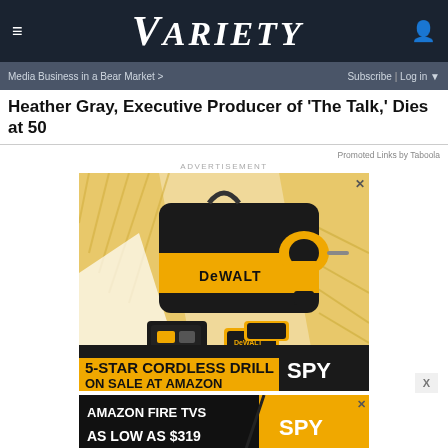≡  VARIETY  👤
Media Business in a Bear Market >   Subscribe | Log in ▼
Heather Gray, Executive Producer of 'The Talk,' Dies at 50
Promoted Links by Taboola
ADVERTISEMENT
[Figure (photo): DeWalt 5-star cordless drill advertisement showing a DeWalt tool bag, cordless drill, battery charger and battery on a yellow and black background. Text reads: 5-STAR CORDLESS DRILL ON SALE AT AMAZON. SPY logo visible.]
[Figure (photo): Amazon Fire TVs advertisement banner. Text reads: AMAZON FIRE TVS AS LOW AS $319. SPY logo visible on right.]